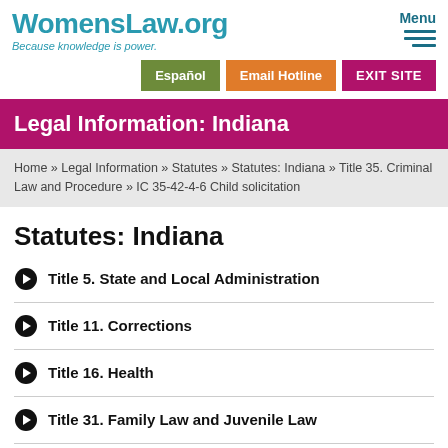WomensLaw.org — Because knowledge is power. Menu
Español | Email Hotline | EXIT SITE
Legal Information: Indiana
Home » Legal Information » Statutes » Statutes: Indiana » Title 35. Criminal Law and Procedure » IC 35-42-4-6 Child solicitation
Statutes: Indiana
Title 5. State and Local Administration
Title 11. Corrections
Title 16. Health
Title 31. Family Law and Juvenile Law